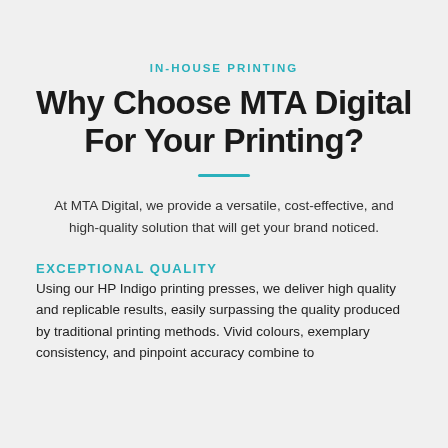IN-HOUSE PRINTING
Why Choose MTA Digital For Your Printing?
At MTA Digital, we provide a versatile, cost-effective, and high-quality solution that will get your brand noticed.
EXCEPTIONAL QUALITY
Using our HP Indigo printing presses, we deliver high quality and replicable results, easily surpassing the quality produced by traditional printing methods. Vivid colours, exemplary consistency, and pinpoint accuracy combine to